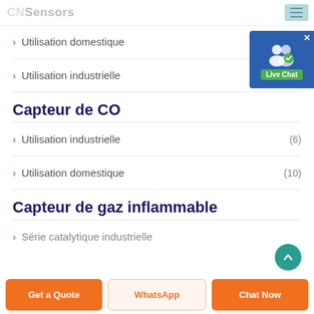CNSensors
> Utilisation domestique (6)
> Utilisation industrielle
Capteur de CO
> Utilisation industrielle (6)
> Utilisation domestique (10)
Capteur de gaz inflammable
> Série catalytique industrielle
Get a Quote | WhatsApp | Chat Now